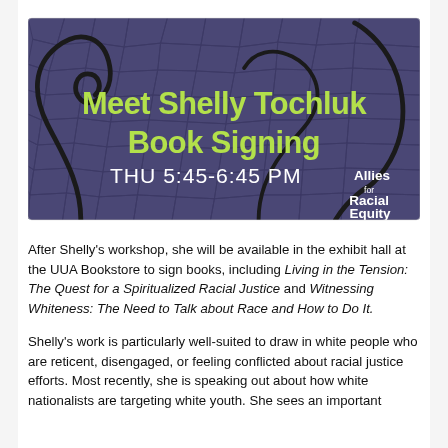[Figure (illustration): Promotional banner with dark purple/blue mosaic background and black swirling line art. Green bold text: 'Meet Shelly Tochluk Book Signing', white text: 'THU 5:45-6:45 PM', white text bottom right: 'Allies for Racial Equity' logo.]
After Shelly's workshop, she will be available in the exhibit hall at the UUA Bookstore to sign books, including Living in the Tension: The Quest for a Spiritualized Racial Justice and Witnessing Whiteness: The Need to Talk about Race and How to Do It.
Shelly's work is particularly well-suited to draw in white people who are reticent, disengaged, or feeling conflicted about racial justice efforts. Most recently, she is speaking out about how white nationalists are targeting white youth. She sees an important